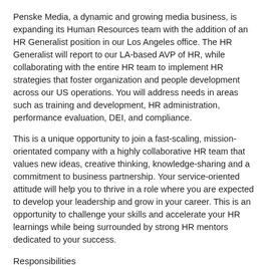Penske Media, a dynamic and growing media business, is expanding its Human Resources team with the addition of an HR Generalist position in our Los Angeles office. The HR Generalist will report to our LA-based AVP of HR, while collaborating with the entire HR team to implement HR strategies that foster organization and people development across our US operations. You will address needs in areas such as training and development, HR administration, performance evaluation, DEI, and compliance.
This is a unique opportunity to join a fast-scaling, mission-orientated company with a highly collaborative HR team that values new ideas, creative thinking, knowledge-sharing and a commitment to business partnership. Your service-oriented attitude will help you to thrive in a role where you are expected to develop your leadership and grow in your career. This is an opportunity to challenge your skills and accelerate your HR learnings while being surrounded by strong HR mentors dedicated to your success.
Responsibilities
Onboarding and Off boarding: Manage all onboarding and off boarding for LA-based staff; Schedule and oversee all new-hire orientations; Assist with completion of all employment documentation, ensuring all required documentation is in place.
Performance Management and Learning: Coordinate the annual